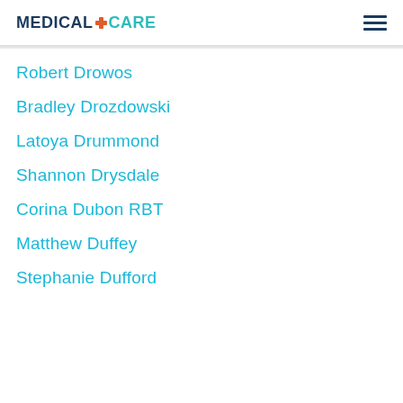MEDICALCARE
Robert Drowos
Bradley Drozdowski
Latoya Drummond
Shannon Drysdale
Corina Dubon RBT
Matthew Duffey
Stephanie Dufford